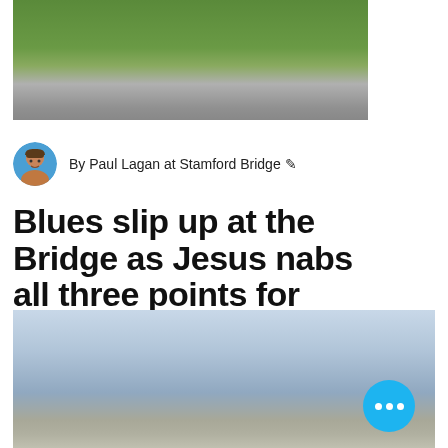[Figure (photo): Blurred outdoor/natural background image at top of article, showing green foliage area fading to grey]
By Paul Lagan at Stamford Bridge ✒
Blues slip up at the Bridge as Jesus nabs all three points for Man City
[Figure (photo): Blurred outdoor image at bottom showing what appears to be a stadium or building exterior with a blue circular more-options button overlaid]